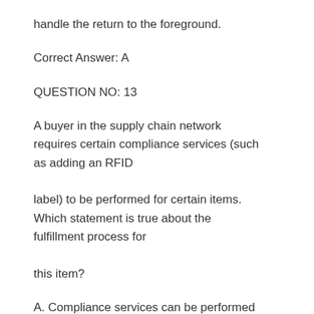handle the return to the foreground.
Correct Answer: A
QUESTION NO: 13
A buyer in the supply chain network requires certain compliance services (such as adding an RFID label) to be performed for certain items. Which statement is true about the fulfillment process for this item?
A. Compliance services can be performed for only bundle items.
B. Compliance services can be configured at item